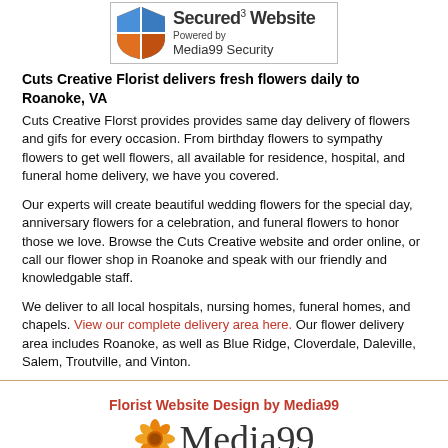[Figure (logo): Secured Website badge with shield logo and 'Powered by Media99 Security' text]
Cuts Creative Florist delivers fresh flowers daily to Roanoke, VA
Cuts Creative Florst provides provides same day delivery of flowers and gifs for every occasion. From birthday flowers to sympathy flowers to get well flowers, all available for residence, hospital, and funeral home delivery, we have you covered.
Our experts will create beautiful wedding flowers for the special day, anniversary flowers for a celebration, and funeral flowers to honor those we love. Browse the Cuts Creative website and order online, or call our flower shop in Roanoke and speak with our friendly and knowledgable staff.
We deliver to all local hospitals, nursing homes, funeral homes, and chapels. View our complete delivery area here. Our flower delivery area includes Roanoke, as well as Blue Ridge, Cloverdale, Daleville, Salem, Troutville, and Vinton.
[Figure (logo): Media99 logo with orange flower and stylized text 'Media99']
Florist Website Design by Media99